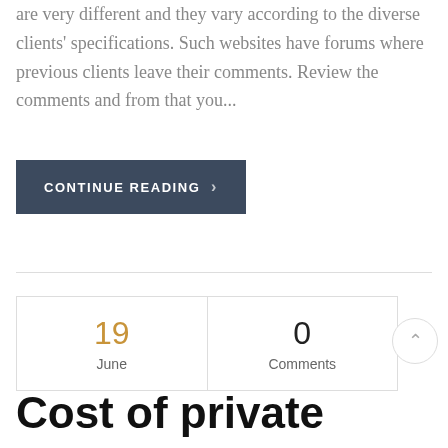are very different and they vary according to the diverse clients' specifications. Such websites have forums where previous clients leave their comments. Review the comments and from that you...
CONTINUE READING
19
June
0
Comments
Cost of private investigato...